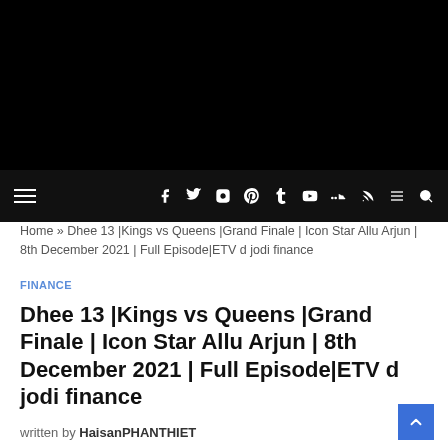[Figure (screenshot): Black header area of a website]
Navigation bar with hamburger menu and social media icons (Facebook, Twitter, Instagram, Pinterest, Tumblr, YouTube, SoundCloud, RSS, Menu, Search)
Home » Dhee 13 |Kings vs Queens |Grand Finale | Icon Star Allu Arjun | 8th December 2021 | Full Episode|ETV d jodi finance
FINANCE
Dhee 13 |Kings vs Queens |Grand Finale | Icon Star Allu Arjun | 8th December 2021 | Full Episode|ETV d jodi finance
written by HaisanPHANTHIET
14/12/2021